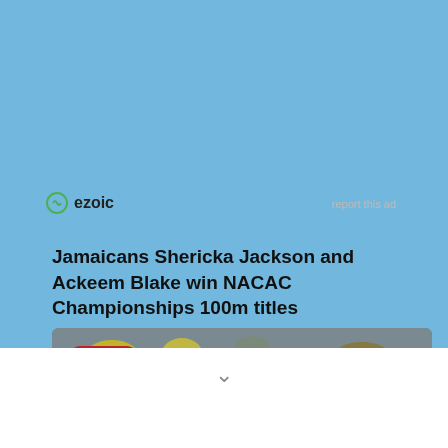[Figure (logo): Ezoic logo with circular green icon and text 'ezoic']
report this ad
Jamaicans Shericka Jackson and Ackeem Blake win NACAC Championships 100m titles
[Figure (photo): Athletes running at a track competition with LE GRUYÈRE SWITZERLAND sponsorship banners. A runner in red uniform labeled GEGA is in the foreground, another runner labeled MEYER is behind. There is a crowd in the background and a Save (Pinterest) button overlay in the top left.]